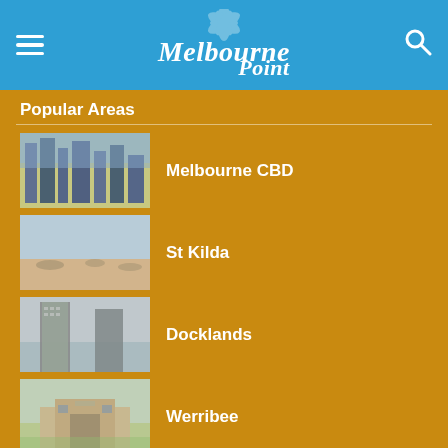Melbourne Point
Popular Areas
Melbourne CBD
St Kilda
Docklands
Werribee
Best Museums
Melbourne Museum